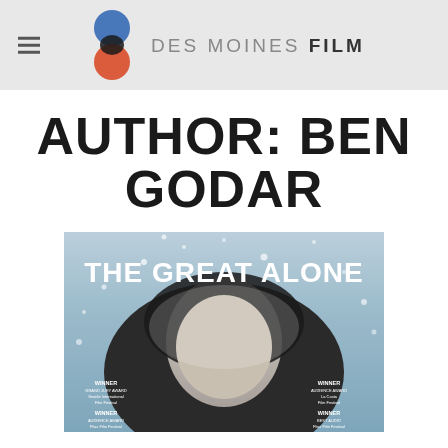DES MOINES FILM (logo with hamburger menu)
AUTHOR: BEN GODAR
[Figure (photo): Movie poster for 'The Great Alone' showing a man bundled in a fur-lined parka covered in snow and ice, with four award laurels: WINNER Grand Jury Award - Seattle International Film Festival, WINNER Audience Award - La Costa Film Festival, WINNER Audience Award - Flixx Film Festival, WINNER Best Audio - Flixx Film Festival]